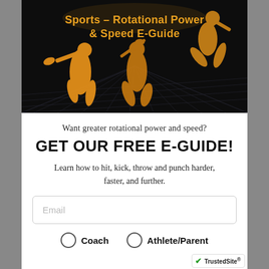[Figure (illustration): Dark background hero image with orange illustrated athlete silhouettes (lacrosse player, softball batter, leaping athlete) on a grid/network pattern floor. Orange text overlay reads 'Sports – Rotational Power & Speed E-Guide'.]
Sports – Rotational Power & Speed E-Guide
Want greater rotational power and speed?
GET OUR FREE E-GUIDE!
Learn how to hit, kick, throw and punch harder, faster, and further.
Email
Coach
Athlete/Parent
[Figure (logo): TrustedSite badge with green checkmark in bottom right corner]